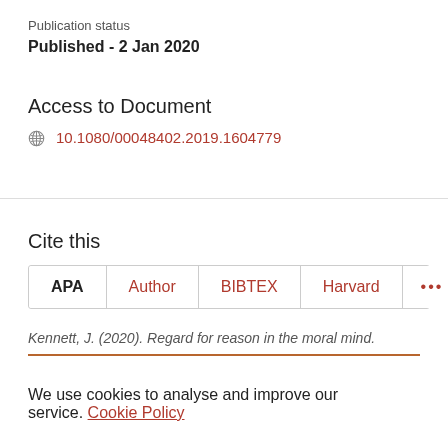Publication status
Published - 2 Jan 2020
Access to Document
10.1080/00048402.2019.1604779
Cite this
APA  Author  BIBTEX  Harvard  ...
Kennett, J. (2020). Regard for reason in the moral mind.
We use cookies to analyse and improve our service. Cookie Policy